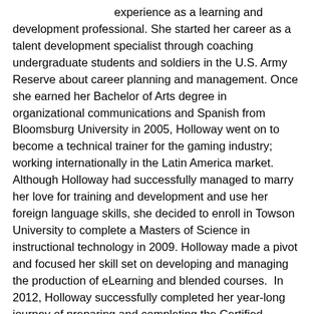experience as a learning and development professional. She started her career as a talent development specialist through coaching undergraduate students and soldiers in the U.S. Army Reserve about career planning and management. Once she earned her Bachelor of Arts degree in organizational communications and Spanish from Bloomsburg University in 2005, Holloway went on to become a technical trainer for the gaming industry; working internationally in the Latin America market. Although Holloway had successfully managed to marry her love for training and development and use her foreign language skills, she decided to enroll in Towson University to complete a Masters of Science in instructional technology in 2009. Holloway made a pivot and focused her skill set on developing and managing the production of eLearning and blended courses.  In 2012, Holloway successfully completed her year-long journey of preparing and completing the Certified Professional in Learning and Performance (CPLP) certification.